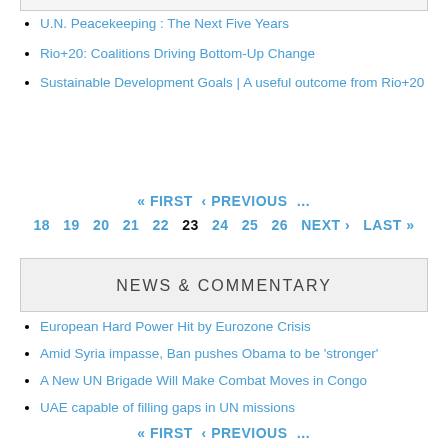U.N. Peacekeeping : The Next Five Years
Rio+20: Coalitions Driving Bottom-Up Change
Sustainable Development Goals | A useful outcome from Rio+20
« FIRST ‹ PREVIOUS … 18 19 20 21 22 23 24 25 26 NEXT › LAST »
NEWS & COMMENTARY
European Hard Power Hit by Eurozone Crisis
Amid Syria impasse, Ban pushes Obama to be 'stronger'
A New UN Brigade Will Make Combat Moves in Congo
UAE capable of filling gaps in UN missions
« FIRST ‹ PREVIOUS …